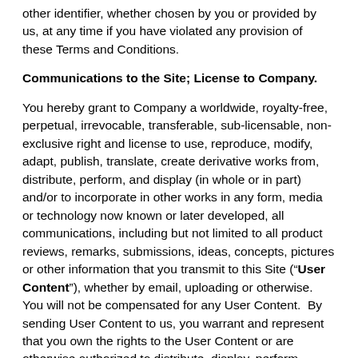other identifier, whether chosen by you or provided by us, at any time if you have violated any provision of these Terms and Conditions.
Communications to the Site; License to Company.
You hereby grant to Company a worldwide, royalty-free, perpetual, irrevocable, transferable, sub-licensable, non-exclusive right and license to use, reproduce, modify, adapt, publish, translate, create derivative works from, distribute, perform, and display (in whole or in part) and/or to incorporate in other works in any form, media or technology now known or later developed, all communications, including but not limited to all product reviews, remarks, submissions, ideas, concepts, pictures or other information that you transmit to this Site (“User Content”), whether by email, uploading or otherwise. You will not be compensated for any User Content. By sending User Content to us, you warrant and represent that you own the rights to the User Content or are otherwise authorized to distribute, display, perform, transmit, or otherwise distribute User Content. You agree that Company